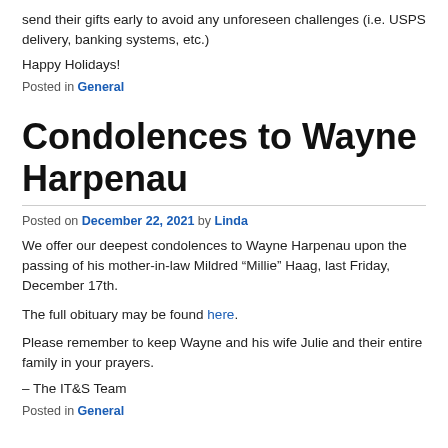send their gifts early to avoid any unforeseen challenges (i.e. USPS delivery, banking systems, etc.)
Happy Holidays!
Posted in General
Condolences to Wayne Harpenau
Posted on December 22, 2021 by Linda
We offer our deepest condolences to Wayne Harpenau upon the passing of his mother-in-law Mildred “Millie” Haag, last Friday, December 17th.
The full obituary may be found here.
Please remember to keep Wayne and his wife Julie and their entire family in your prayers.
– The IT&S Team
Posted in General